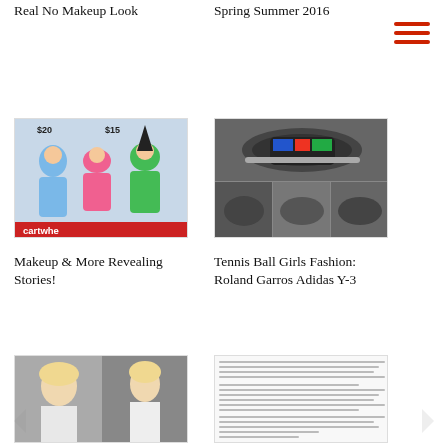Real No Makeup Look
Spring Summer 2016
[Figure (photo): Children in Halloween costumes including fairy, pink witch, and green witch. Cartwheel banner at bottom.]
[Figure (photo): Adidas Y-3 tennis shoe collage showing Roland Garros colorful sneaker from multiple angles.]
Makeup & More Revealing Stories!
Tennis Ball Girls Fashion: Roland Garros Adidas Y-3
[Figure (photo): Celebrities at an awards event, two blond women in formal wear.]
[Figure (screenshot): Article text preview with dense paragraph text, unreadable at this resolution.]